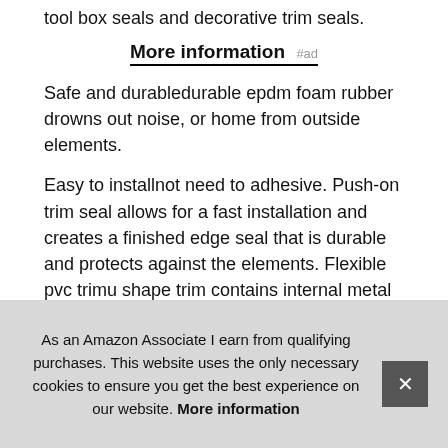tool box seals and decorative trim seals.
More information #ad
Safe and durabledurable epdm foam rubber drowns out noise, or home from outside elements.
Easy to installnot need to adhesive. Push-on trim seal allows for a fast installation and creates a finished edge seal that is durable and protects against the elements. Flexible pvc trimu shape trim contains internal metal clips to grip permanent around the install place and excellent grip retention, and sponge rubber bulb to provide a secure seal for a variety of appli
As an Amazon Associate I earn from qualifying purchases. This website uses the only necessary cookies to ensure you get the best experience on our website. More information